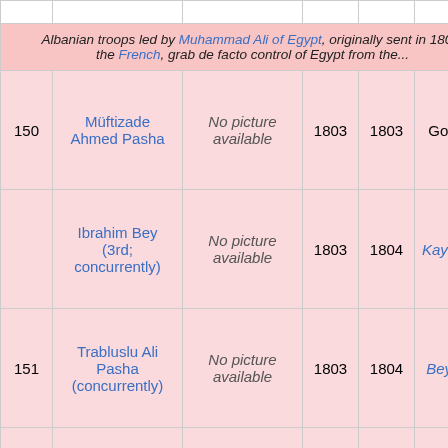| # | Name | Picture | Start | End | Role |
| --- | --- | --- | --- | --- | --- |
|  | Albanian troops led by Muhammad Ali of Egypt, originally sent in 180... the French, grab de facto control of Egypt from the... |  |  |  |  |
| 150 | Müftizade Ahmed Pasha | No picture available | 1803 | 1803 | Governor |
|  | Ibrahim Bey (3rd; concurrently) | No picture available | 1803 | 1804 | Kaymakam |
| 151 | Trabluslu Ali Pasha (concurrently) | No picture available | 1803 | 1804 | Beylerbey |
| 152 | Koca Hüsrev Mehmed Pasha (2nd) | No picture available | 1804 | 1804 | Beylerbey |